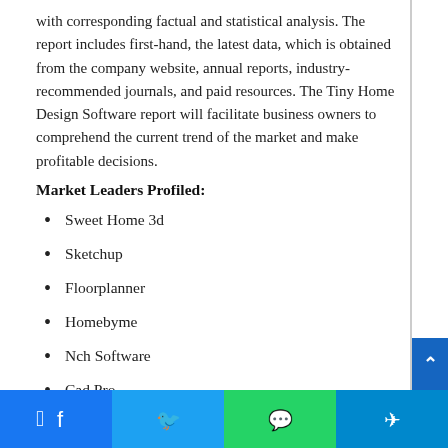with corresponding factual and statistical analysis. The report includes first-hand, the latest data, which is obtained from the company website, annual reports, industry-recommended journals, and paid resources. The Tiny Home Design Software report will facilitate business owners to comprehend the current trend of the market and make profitable decisions.
Market Leaders Profiled:
Sweet Home 3d
Sketchup
Floorplanner
Homebyme
Nch Software
Cad Pro
Facebook | Twitter | WhatsApp | Telegram